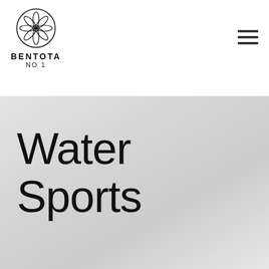[Figure (logo): Bentota No 1 logo with circular floral/mandala emblem above bold text BENTOTA and NO 1]
[Figure (other): Hamburger menu icon with three horizontal bars in top right corner]
Water Sports